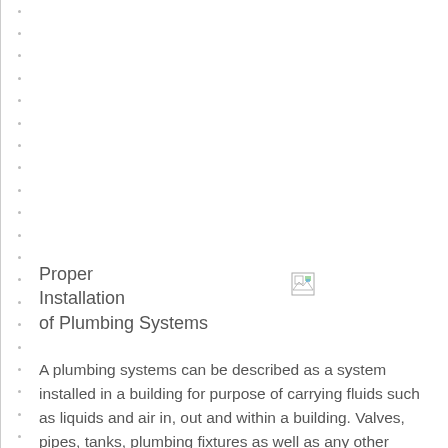Proper Installation of Plumbing Systems
[Figure (illustration): Broken/missing image placeholder icon (small image icon with green and blue colors indicating a missing embedded image)]
A plumbing systems can be described as a system installed in a building for purpose of carrying fluids such as liquids and air in, out and within a building. Valves, pipes, tanks, plumbing fixtures as well as any other apparatus that may be required for conveyance are